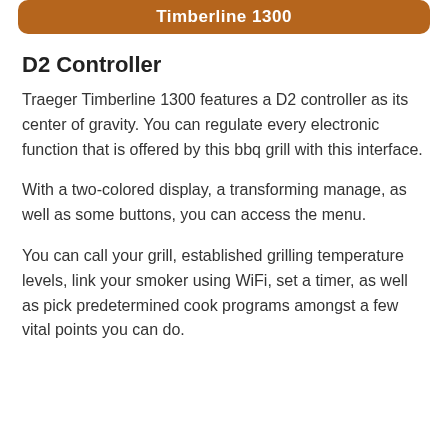Timberline 1300
D2 Controller
Traeger Timberline 1300 features a D2 controller as its center of gravity. You can regulate every electronic function that is offered by this bbq grill with this interface.
With a two-colored display, a transforming manage, as well as some buttons, you can access the menu.
You can call your grill, established grilling temperature levels, link your smoker using WiFi, set a timer, as well as pick predetermined cook programs amongst a few vital points you can do.